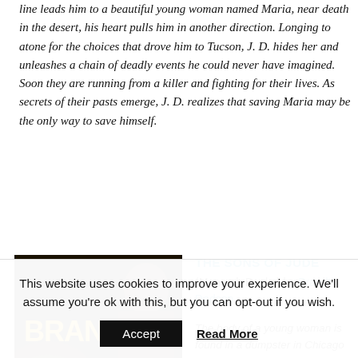line leads him to a beautiful young woman named Maria, near death in the desert, his heart pulls him in another direction. Longing to atone for the choices that drove him to Tucson, J. D. hides her and unleashes a chain of deadly events he could never have imagined. Soon they are running from a killer and fighting for their lives. As secrets of their pasts emerge, J. D. realizes that saving Maria may be the only way to save himself.
[Figure (photo): Book cover of 'The Sons of Jude' by Brandt Dodson — dark background with bold yellow text reading 'BRANDT DODSON' and a woman in the background.]
THE SONS OF JUDE
(Monarch Books) by Brandt Dodson

The body of a young woman is found in a dumpster in Chicago and detectives Andy
This website uses cookies to improve your experience. We'll assume you're ok with this, but you can opt-out if you wish.
Accept
Read More